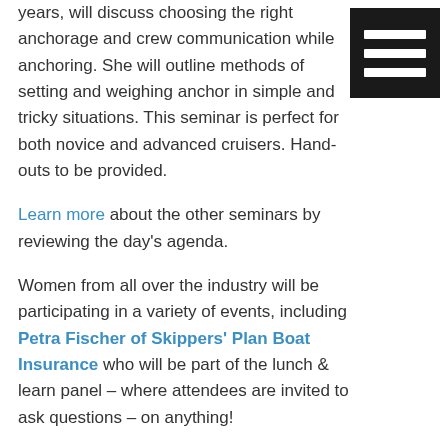years, will discuss choosing the right anchorage and crew communication while anchoring. She will outline methods of setting and weighing anchor in simple and tricky situations. This seminar is perfect for both novice and advanced cruisers. Hand-outs to be provided.
Learn more about the other seminars by reviewing the day's agenda.
Women from all over the industry will be participating in a variety of events, including Petra Fischer of Skippers' Plan Boat Insurance who will be part of the lunch & learn panel – where attendees are invited to ask questions – on anything!
Women's Day will be held Sunday, January 20, 2019. The registration fee of $99 includes: seminars, keynote presentation with Deb Cantrall, lunch, end-of-day reception, gift bag, raffle prizes and a general admission ticket to return to the show any other day.
Show manager, Cynthia Hare recommends registering early. The space is limited to 150 guests